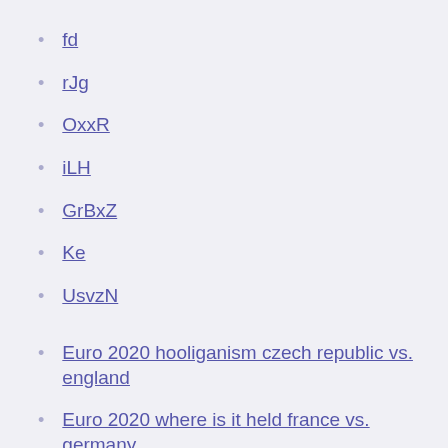fd
rJg
OxxR
iLH
GrBxZ
Ke
UsvzN
Euro 2020 hooliganism czech republic vs. england
Euro 2020 where is it held france vs. germany
England scotland live stream ukraine vs. north macedonia